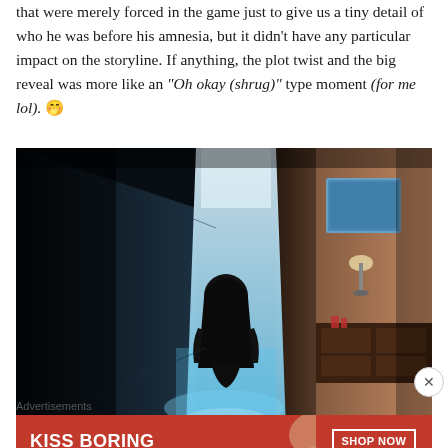that were merely forced in the game just to give us a tiny detail of who he was before his amnesia, but it didn't have any particular impact on the storyline. If anything, the plot twist and the big reveal was more like an "Oh okay (shrug)" type moment (for me lol). 🤭
[Figure (photo): Dark atmospheric photo of a hooded figure walking through a bright corridor or hallway toward the camera, with blue-tinted glowing light behind them. On the right side is a warmly lit room with a painting, lamp, and dresser.]
Advertisements
[Figure (photo): Advertisement banner for Macy's lipstick. Red background with white bold text reading 'KISS BORING LIPS GOODBYE' on the left, a woman's face with red lips in the center, and a 'SHOP NOW' button with the Macy's star logo on the right.]